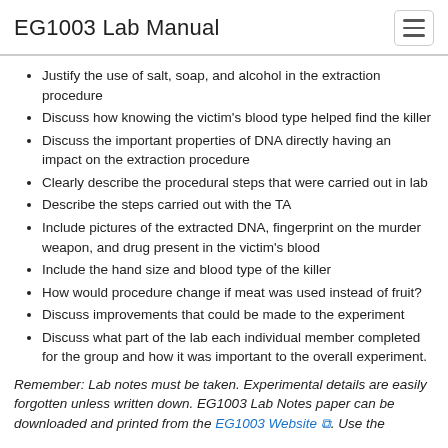EG1003 Lab Manual
Justify the use of salt, soap, and alcohol in the extraction procedure
Discuss how knowing the victim's blood type helped find the killer
Discuss the important properties of DNA directly having an impact on the extraction procedure
Clearly describe the procedural steps that were carried out in lab
Describe the steps carried out with the TA
Include pictures of the extracted DNA, fingerprint on the murder weapon, and drug present in the victim's blood
Include the hand size and blood type of the killer
How would procedure change if meat was used instead of fruit?
Discuss improvements that could be made to the experiment
Discuss what part of the lab each individual member completed for the group and how it was important to the overall experiment.
Remember: Lab notes must be taken. Experimental details are easily forgotten unless written down. EG1003 Lab Notes paper can be downloaded and printed from the EG1003 Website. Use the